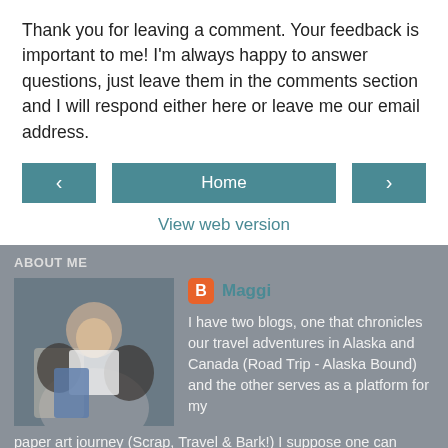Thank you for leaving a comment. Your feedback is important to me! I'm always happy to answer questions, just leave them in the comments section and I will respond either here or leave me our email address.
< Home > View web version
ABOUT ME
Maggi
I have two blogs, one that chronicles our travel adventures in Alaska and Canada (Road Trip - Alaska Bound) and the other serves as a platform for my paper art journey (Scrap, Travel & Bark!) I suppose one can make the connection between paper art/scrapbooking and travel. After all, if one travels a lot, there usually are pictures begging to be scrapped. My husband and I retired a while ago and wander the continent whenever possible in our motorhome. We've been from